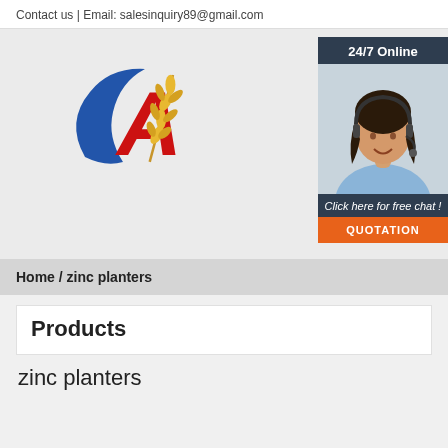Contact us | Email: salesinquiry89@gmail.com
[Figure (logo): Company logo with large red letter A, blue crescent swoosh, and golden wheat stalks on the right]
[Figure (photo): 24/7 Online chat widget with photo of smiling woman with headset, text 'Click here for free chat!' and orange QUOTATION button]
Home / zinc planters
Products
zinc planters